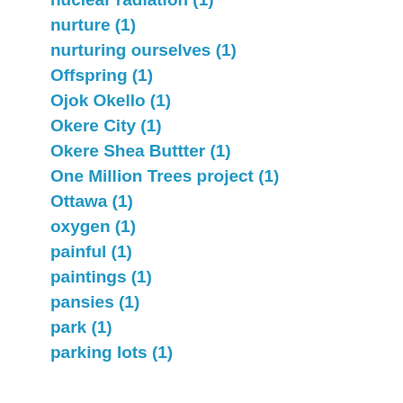nuclear radiation (1)
nurture (1)
nurturing ourselves (1)
Offspring (1)
Ojok Okello (1)
Okere City (1)
Okere Shea Buttter (1)
One Million Trees project (1)
Ottawa (1)
oxygen (1)
painful (1)
paintings (1)
pansies (1)
park (1)
parking lots (1)